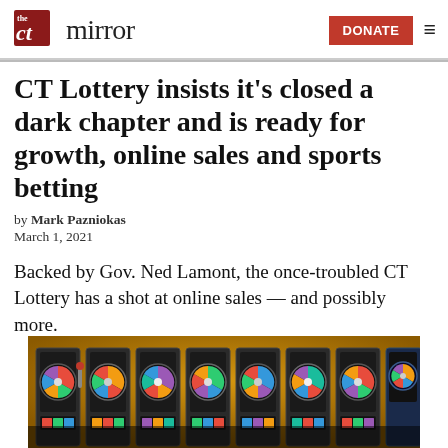CT Mirror | DONATE
CT Lottery insists it's closed a dark chapter and is ready for growth, online sales and sports betting
by Mark Pazniokas
March 1, 2021
Backed by Gov. Ned Lamont, the once-troubled CT Lottery has a shot at online sales — and possibly more.
[Figure (photo): Row of slot machines with colorful spinning wheel displays]